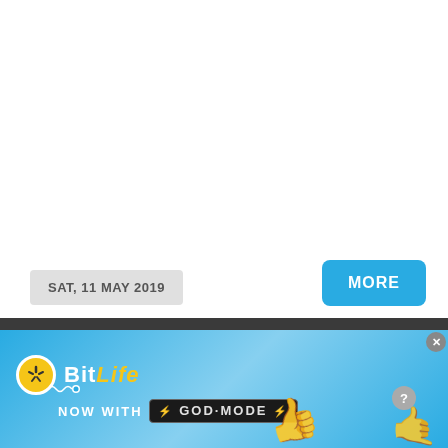SAT, 11 MAY 2019
MORE
[Figure (photo): Dark strip with four celebrity/event photos: woman in white gown on stage, woman in dark red outfit, man in gray suit on orange carpet, couple at event]
[Figure (screenshot): BitLife advertisement banner — 'BitLife NOW WITH GOD MODE' on blue background with thumbs up graphics]